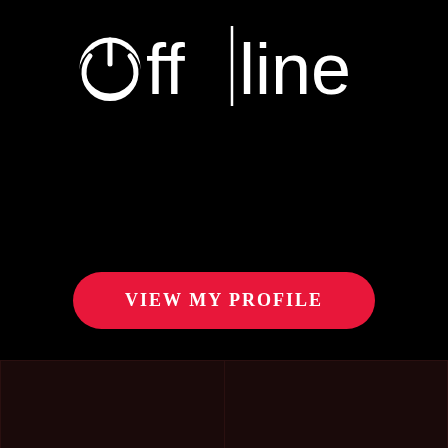[Figure (logo): Offline brand logo in white on black background. The word 'offline' with a power button icon incorporated into the 'o', styled in white sans-serif font.]
VIEW MY PROFILE
[Figure (photo): Two dark panels at the bottom of the page, appearing to be a screenshot of a dating/social app interface with very dark/black content.]